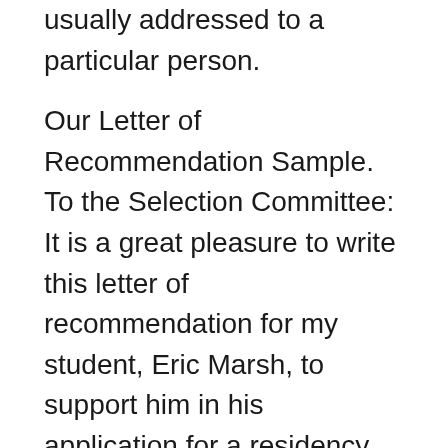usually addressed to a particular person.
Our Letter of Recommendation Sample. To the Selection Committee: It is a great pleasure to write this letter of recommendation for my student, Eric Marsh, to support him in his application for a residency position at Mercy Hospital. How to Write Your Own Letter of Recommendation. Ryan Kelly. specific details not otherwise found in the rest of the application. The Savvy Pre-Med is powered
Letters of recommendation have the potential to have a very positive impact on your overall competitiveness for residency. While at first glance it may seem that this aspect of your application may seem largely out of your control